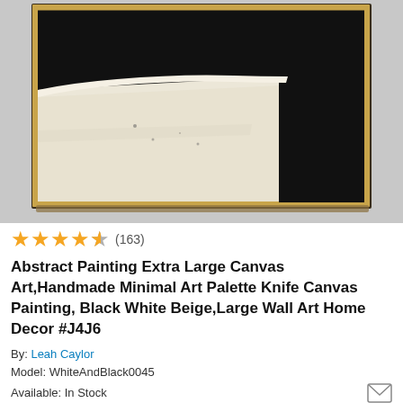[Figure (photo): Abstract canvas painting with black background and white/beige textured area in the lower left, framed in a thin gold/wooden frame, mounted on a gray wall.]
★★★★★ (163)
Abstract Painting Extra Large Canvas Art,Handmade Minimal Art Palette Knife Canvas Painting, Black White Beige,Large Wall Art Home Decor #J4J6
By: Leah Caylor
Model: WhiteAndBlack0045
Available: In Stock